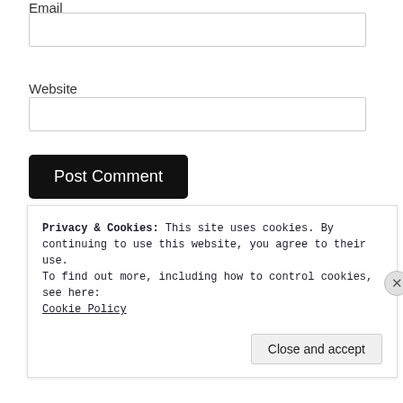Email
(email input field)
Website
(website input field)
Post Comment
Notify me of new comments via email.
Privacy & Cookies: This site uses cookies. By continuing to use this website, you agree to their use.
To find out more, including how to control cookies, see here:
Cookie Policy
Close and accept